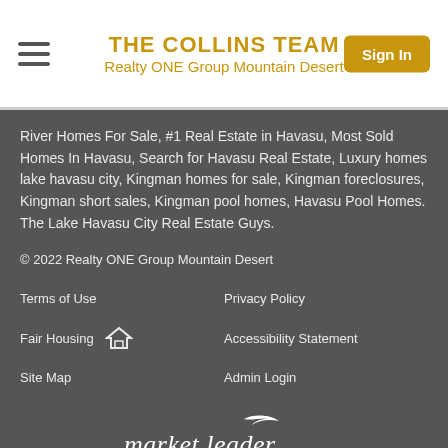THE COLLINS TEAM
Realty ONE Group Mountain Desert
River Homes For Sale, #1 Real Estate in Havasu, Most Sold Homes In Havasu, Search for Havasu Real Estate, Luxury homes lake havasu city, Kingman homes for sale, Kingman foreclosures, Kingman short sales, Kingman pool homes, Havasu Pool Homes. The Lake Havasu City Real Estate Guys.
© 2022 Realty ONE Group Mountain Desert
Terms of Use
Privacy Policy
Fair Housing
Accessibility Statement
Site Map
Admin Login
[Figure (logo): market leader. logo in white italic text]